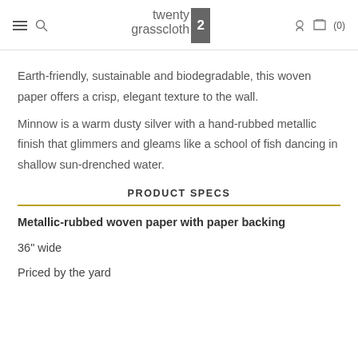twenty2 grasscloth
Earth-friendly, sustainable and biodegradable, this woven paper offers a crisp, elegant texture to the wall.
Minnow is a warm dusty silver with a hand-rubbed metallic finish that glimmers and gleams like a school of fish dancing in shallow sun-drenched water.
PRODUCT SPECS
Metallic-rubbed woven paper with paper backing
36" wide
Priced by the yard